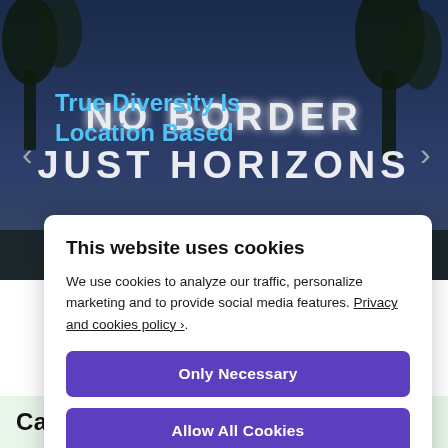[Figure (photo): Nighttime outdoor photo with neon light letters reading NO BORDERS JUST HORIZONS against dark trees and blue sky]
True Diversity Is Location Based
This website uses cookies
We use cookies to analyze our traffic, personalize marketing and to provide social media features. Privacy and cookies policy ›.
Only Necessary
Allow All Cookies
Configure Settings ›
Category: Politics